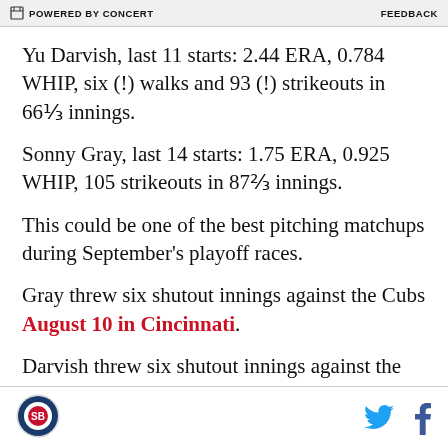POWERED BY CONCERT   FEEDBACK
Yu Darvish, last 11 starts: 2.44 ERA, 0.784 WHIP, six (!) walks and 93 (!) strikeouts in 66⅓ innings.
Sonny Gray, last 14 starts: 1.75 ERA, 0.925 WHIP, 105 strikeouts in 87⅔ innings.
This could be one of the best pitching matchups during September's playoff races.
Gray threw six shutout innings against the Cubs August 10 in Cincinnati.
Darvish threw six shutout innings against the Reds